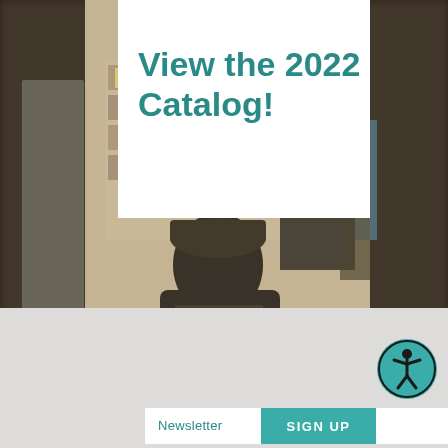[Figure (photo): Blurred photo of a bookstore interior with people shopping, shelves with products, and dark door frames on the sides. A silhouetted person is prominent in the foreground center.]
View the 2022 Catalog!
Newsletter
SIGN UP